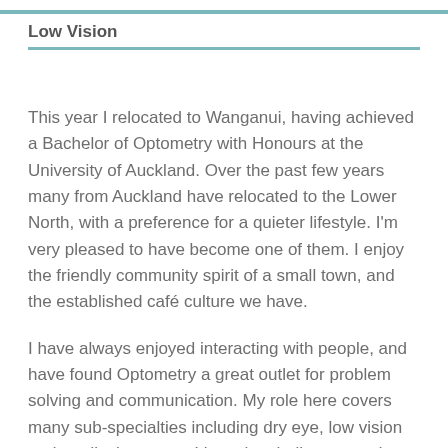Low Vision
This year I relocated to Wanganui, having achieved a Bachelor of Optometry with Honours at the University of Auckland. Over the past few years many from Auckland have relocated to the Lower North, with a preference for a quieter lifestyle. I'm very pleased to have become one of them. I enjoy the friendly community spirit of a small town, and the established café culture we have.
I have always enjoyed interacting with people, and have found Optometry a great outlet for problem solving and communication. My role here covers many sub-specialties including dry eye, low vision and medical eyecare. I love the challenges and successes associated with having a large scope of care.